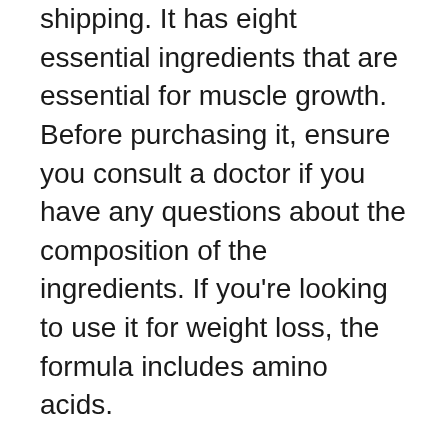shipping. It has eight essential ingredients that are essential for muscle growth. Before purchasing it, ensure you consult a doctor if you have any questions about the composition of the ingredients. If you're looking to use it for weight loss, the formula includes amino acids.
Resurge is an excellent product to reduce body fat the morning. It works by raising GABA and serotonin, which are two neurotransmitters that affect your mood and ability to fall asleep. This supplement isn't a sedative. It's a sleep aid that helps your body heal itself. Resurge is completely safe for use with no adverse effects. The manufacturer is dedicated to providing a product that is safe. It is only sold on